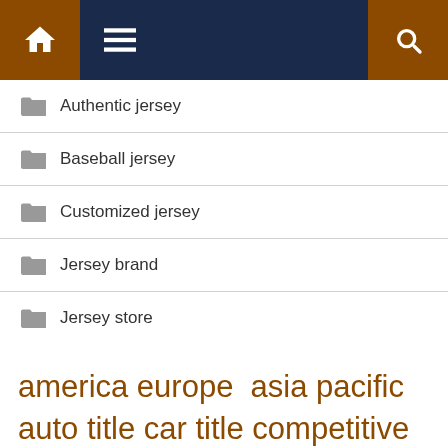Navigation bar with home, menu, and search icons
Authentic jersey
Baseball jersey
Customized jersey
Jersey brand
Jersey store
america europe asia pacific auto title car title competitive landscape